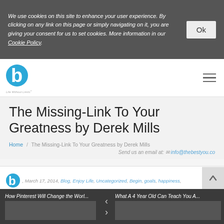We use cookies on this site to enhance your user experience. By clicking on any link on this page or simply navigating on it, you are giving your consent for us to set cookies. More information in our Cookie Policy.
[Figure (logo): Blue circular 'b' logo with tagline 'Life Without Limits']
The Missing-Link To Your Greatness by Derek Mills
Home / The Missing-Link To Your Greatness by Derek Mills
Send us an email at: info@thebestyou.co
, March 17, 2014, Blog, Enjoy Life, Uncategorized, Begin, goals, happiness, The Best You
How Pinterest Will Change the Worl...
What A 4 Year Old Can Teach You A...